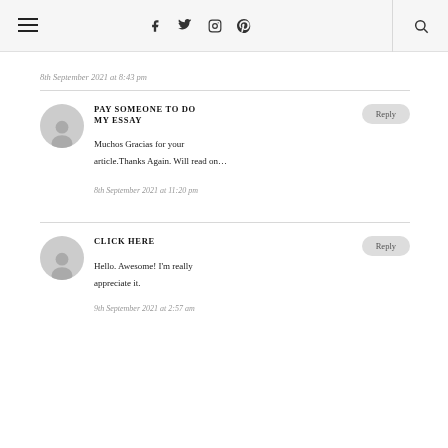Navigation header with hamburger menu, social icons (Facebook, Twitter, Instagram, Pinterest), and search icon
8th September 2021 at 8:43 pm
PAY SOMEONE TO DO MY ESSAY
Muchos Gracias for your article.Thanks Again. Will read on…
8th September 2021 at 11:20 pm
CLICK HERE
Hello. Awesome! I'm really appreciate it.
9th September 2021 at 2:57 am